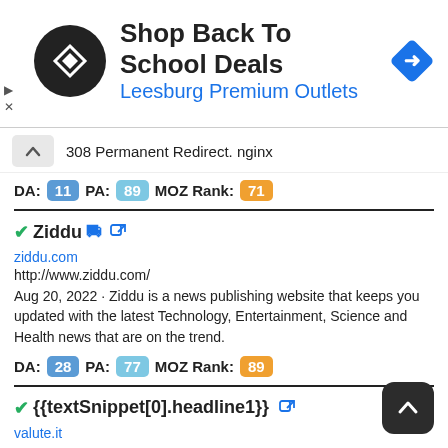[Figure (infographic): Ad banner for Leesburg Premium Outlets with circular logo, text 'Shop Back To School Deals / Leesburg Premium Outlets', and a blue diamond navigation icon]
308 Permanent Redirect. nginx
DA: 11  PA: 89  MOZ Rank: 71
✓Ziddu 🔗
ziddu.com
http://www.ziddu.com/
Aug 20, 2022 · Ziddu is a news publishing website that keeps you updated with the latest Technology, Entertainment, Science and Health news that are on the trend.
DA: 28  PA: 77  MOZ Rank: 89
✓{{textSnippet[0].headline1}} 🔗
valute.it